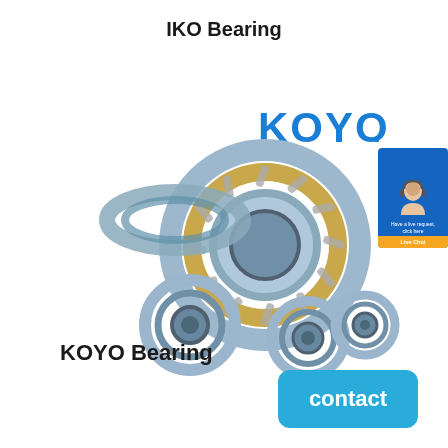IKO Bearing
[Figure (photo): Multiple KOYO brand ball bearings and roller bearings arranged together, showing metallic silver and gold colored bearings of various sizes. The KOYO logo in blue text appears above the bearings.]
[Figure (photo): Small chat widget in top right corner showing a customer service representative with headset, with text and a yellow contact button.]
KOYO Bearing
[Figure (other): Blue rounded rectangle contact button with white text reading 'contact']